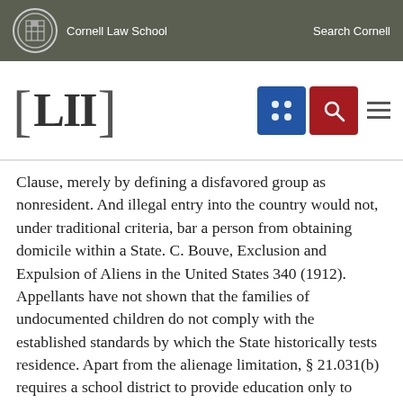Cornell Law School  Search Cornell
[Figure (logo): LII (Legal Information Institute) logo with Cornell Law School navigation bar including a grid icon button, search icon button, and hamburger menu]
Clause, merely by defining a disfavored group as nonresident. And illegal entry into the country would not, under traditional criteria, bar a person from obtaining domicile within a State. C. Bouve, Exclusion and Expulsion of Aliens in the United States 340 (1912). Appellants have not shown that the families of undocumented children do not comply with the established standards by which the State historically tests residence. Apart from the alienage limitation, § 21.031(b) requires a school district to provide education only to resident children. The school districts of the State are as free to apply to undocumented children established criteria for determining residence as they are to